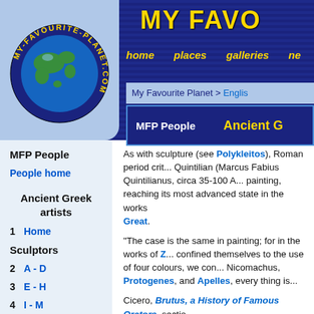MY FAVO | home  places  galleries  ne
[Figure (logo): My Favourite Planet globe logo with green and blue globe, circular yellow text reading MY-FAVOURITE-PLANET.COM on dark blue background]
My Favourite Planet > English
MFP People    Ancient G
MFP People
People home
Ancient Greek artists
1   Home
Sculptors
2   A - D
3   E - H
4   I - M
5   N - P
As with sculpture (see Polykleitos), Roman period critics such as Quintilian (Marcus Fabius Quintilianus, circa 35-100 AD) saw Greek painting, reaching its most advanced state in the works of Alexander the Great.
"The case is the same in painting; for in the works of Z... confined themselves to the use of four colours, we co... Nicomachus, Protogenes, and Apelles, every thing is...
Cicero, Brutus, a History of Famous Orators, sectio...
"The first great painters, whose works deserve inspect... been Polygnotus and Aglaophon *, whose simple colo... almost primitive works, which may be regarded as the... greatest of their successors, their motive being, in my o...
Later Zeuxis and Parrhasius contributed much to the p... distance of time, since both flourished about the period... preserved a conversation between Socrates and Parrh...